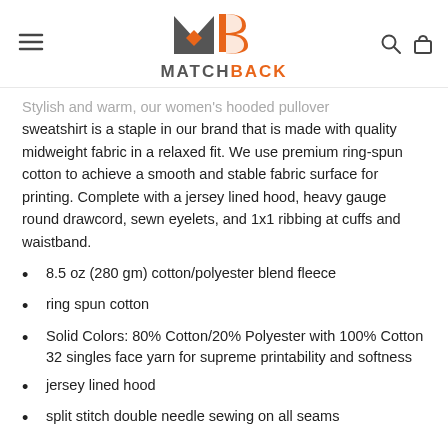MATCHBACK (logo)
Stylish and warm, our women's hooded pullover sweatshirt is a staple in our brand that is made with quality midweight fabric in a relaxed fit. We use premium ring-spun cotton to achieve a smooth and stable fabric surface for printing. Complete with a jersey lined hood, heavy gauge round drawcord, sewn eyelets, and 1x1 ribbing at cuffs and waistband.
8.5 oz (280 gm) cotton/polyester blend fleece
ring spun cotton
Solid Colors: 80% Cotton/20% Polyester with 100% Cotton 32 singles face yarn for supreme printability and softness
jersey lined hood
split stitch double needle sewing on all seams